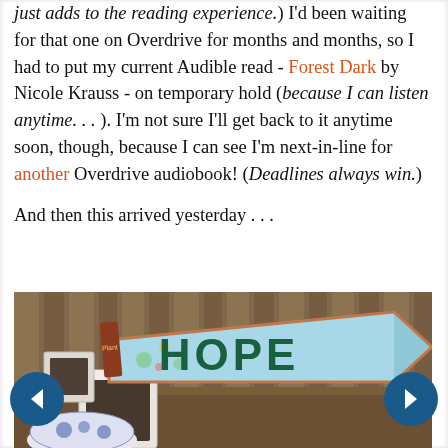just adds to the reading experience.)  I'd been waiting for that one on Overdrive for months and months, so I had to put my current Audible read - Forest Dark by Nicole Krauss - on temporary hold (because I can listen anytime. . . ).  I'm not sure I'll get back to it anytime soon, though, because I can see I'm next-in-line for another Overdrive audiobook!  (Deadlines always win.)

And then this arrived yesterday . . .
[Figure (photo): Photo of a decorative arrow-shaped sign reading 'HOPE' in green letters on a light blue background with floral designs, resting on a wooden surface alongside small white ceramic pots and a blue-and-white pottery piece.]